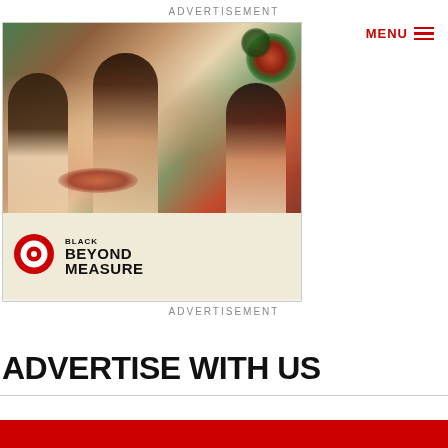ADVERTISEMENT
[Figure (photo): Advertisement banner showing people at an outdoor gathering/party with flowers, alongside Target logo and text reading BLACK BEYOND MEASURE]
ADVERTISEMENT
ADVERTISE WITH US